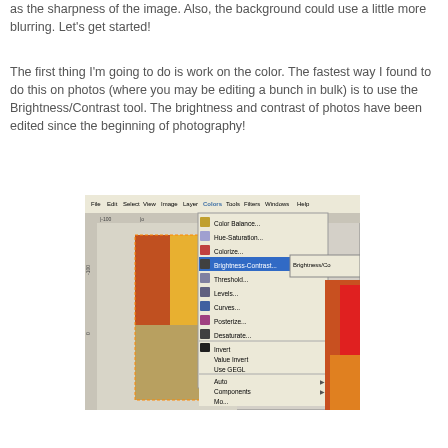as the sharpness of the image. Also, the background could use a little more blurring. Let's get started!
The first thing I'm going to do is work on the color. The fastest way I found to do this on photos (where you may be editing a bunch in bulk) is to use the Brightness/Contrast tool. The brightness and contrast of photos have been edited since the beginning of photography!
[Figure (screenshot): Screenshot of GIMP image editor showing the Colors menu open with Brightness-Contrast option highlighted, and a Brightness/Contrast dialog visible on the right side. The canvas shows a photo being edited.]